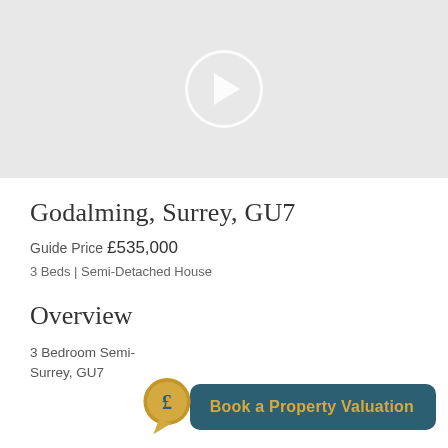[Figure (screenshot): Video placeholder with play button on grey background]
Godalming, Surrey, GU7
Guide Price £535,000
3 Beds | Semi-Detached House
Overview
3 Bedroom Semi- Surrey, GU7
[Figure (infographic): Book a Property Valuation button with pound sign speech bubble icon, teal background with gold text]